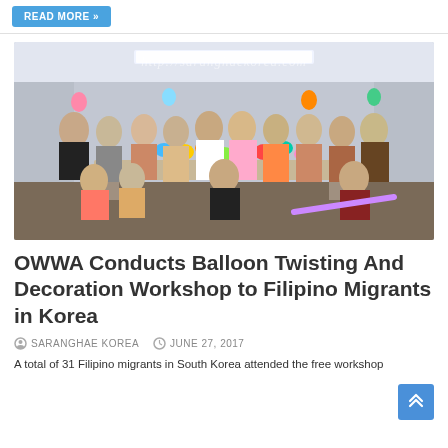READ MORE »
[Figure (photo): Group photo of approximately 31 Filipino migrants and instructors at a balloon twisting workshop in South Korea, holding colorful balloon sculptures including flowers, animals, and other shapes. Watermark reads: http://saranghaekorea.com]
OWWA Conducts Balloon Twisting And Decoration Workshop to Filipino Migrants in Korea
SARANGHAE KOREA   JUNE 27, 2017
A total of 31 Filipino migrants in South Korea attended the free workshop